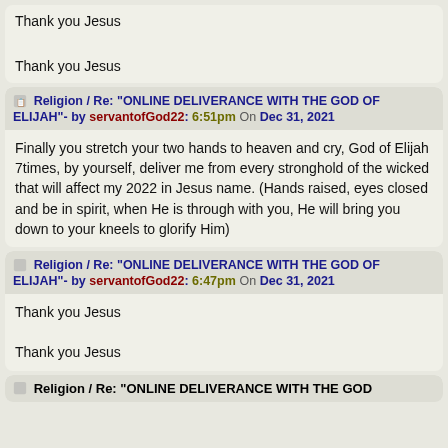Thank you Jesus

Thank you Jesus
Religion / Re: "ONLINE DELIVERANCE WITH THE GOD OF ELIJAH"- by servantofGod22: 6:51pm On Dec 31, 2021
Finally you stretch your two hands to heaven and cry, God of Elijah 7times, by yourself, deliver me from every stronghold of the wicked that will affect my 2022 in Jesus name. (Hands raised, eyes closed and be in spirit, when He is through with you, He will bring you down to your kneels to glorify Him)
Religion / Re: "ONLINE DELIVERANCE WITH THE GOD OF ELIJAH"- by servantofGod22: 6:47pm On Dec 31, 2021
Thank you Jesus

Thank you Jesus
Religion / Re: "ONLINE DELIVERANCE WITH THE GOD